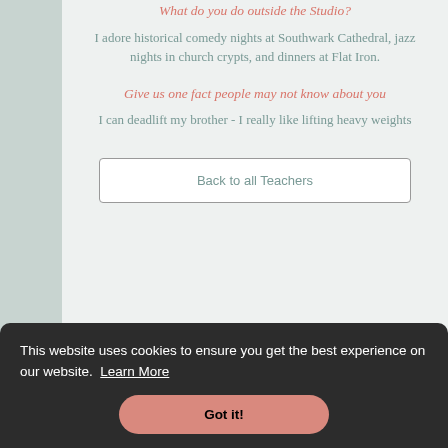What do you do outside the Studio?
I adore historical comedy nights at Southwark Cathedral, jazz nights in church crypts, and dinners at Flat Iron.
Give us one fact people may not know about you
I can deadlift my brother - I really like lifting heavy weights
Back to all Teachers
This website uses cookies to ensure you get the best experience on our website. Learn More
Got it!